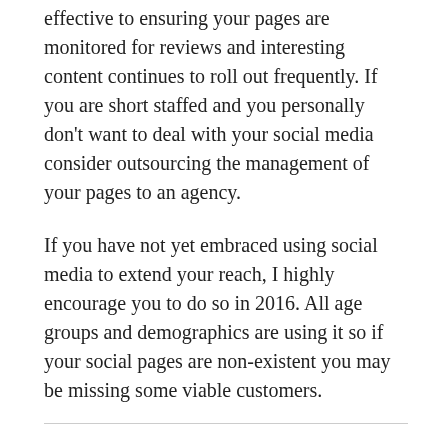effective to ensuring your pages are monitored for reviews and interesting content continues to roll out frequently. If you are short staffed and you personally don't want to deal with your social media consider outsourcing the management of your pages to an agency.
If you have not yet embraced using social media to extend your reach, I highly encourage you to do so in 2016. All age groups and demographics are using it so if your social pages are non-existent you may be missing some viable customers.